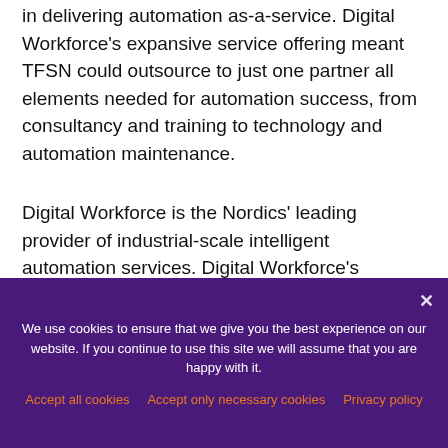in delivering automation as-a-service. Digital Workforce's expansive service offering meant TFSN could outsource to just one partner all elements needed for automation success, from consultancy and training to technology and automation maintenance.
Digital Workforce is the Nordics' leading provider of industrial-scale intelligent automation services. Digital Workforce's intelligent digital workers utilize different technologies, including Robotic
We use cookies to ensure that we give you the best experience on our website. If you continue to use this site we will assume that you are happy with it.
Accept all cookies   Accept only necessary cookies   Privacy policy